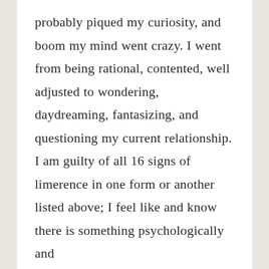probably piqued my curiosity, and boom my mind went crazy. I went from being rational, contented, well adjusted to wondering, daydreaming, fantasizing, and questioning my current relationship. I am guilty of all 16 signs of limerence in one form or another listed above; I feel like and know there is something psychologically and